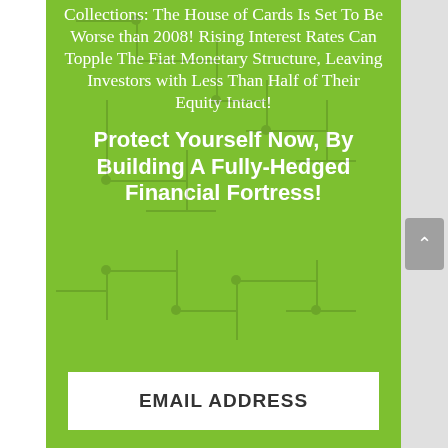Collections: The House of Cards Is Set To Be Worse than 2008! Rising Interest Rates Can Topple The Fiat Monetary Structure, Leaving Investors with Less Than Half of Their Equity Intact!
Protect Yourself Now, By Building A Fully-Hedged Financial Fortress!
EMAIL ADDRESS